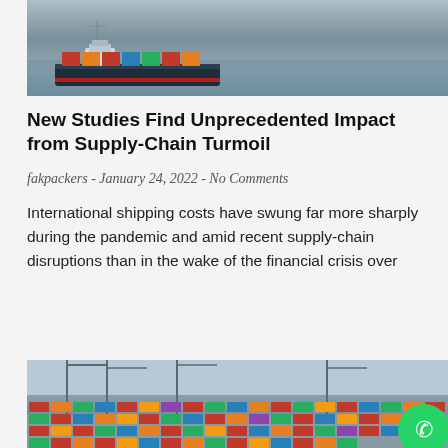[Figure (photo): Container ship on water, photographed from above or side angle, with colorful shipping containers on deck and gray water in background.]
New Studies Find Unprecedented Impact from Supply-Chain Turmoil
fakpackers - January 24, 2022 - No Comments
International shipping costs have swung far more sharply during the pandemic and amid recent supply-chain disruptions than in the wake of the financial crisis over
[Figure (photo): Aerial view of a busy container port with hundreds of colorful shipping containers stacked and arranged across a large terminal area. WhatsApp icon overlay in bottom right corner.]